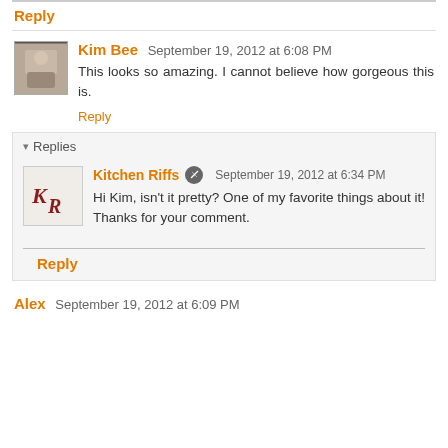Reply
Kim Bee  September 19, 2012 at 6:08 PM
This looks so amazing. I cannot believe how gorgeous this is.
Reply
Replies
Kitchen Riffs  September 19, 2012 at 6:34 PM
Hi Kim, isn't it pretty? One of my favorite things about it! Thanks for your comment.
Reply
Alex  September 19, 2012 at 6:09 PM